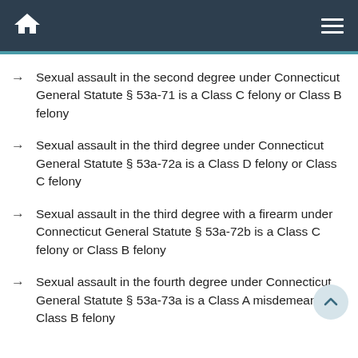Home | Menu
Sexual assault in the second degree under Connecticut General Statute § 53a-71 is a Class C felony or Class B felony
Sexual assault in the third degree under Connecticut General Statute § 53a-72a is a Class D felony or Class C felony
Sexual assault in the third degree with a firearm under Connecticut General Statute § 53a-72b is a Class C felony or Class B felony
Sexual assault in the fourth degree under Connecticut General Statute § 53a-73a is a Class A misdemeanor or Class B felony